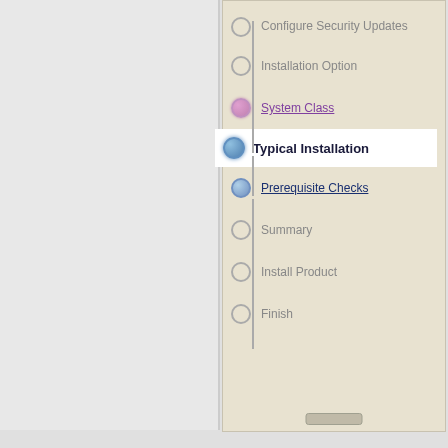[Figure (screenshot): Software installer wizard navigation panel showing a vertical step list with icons/dots connected by a line. Steps: Configure Security Updates (grey), Installation Option (grey), System Class (pink/purple link - visited), Typical Installation (blue - current/active highlighted in white), Prerequisite Checks (blue link), Summary (grey), Install Product (grey), Finish (grey).]